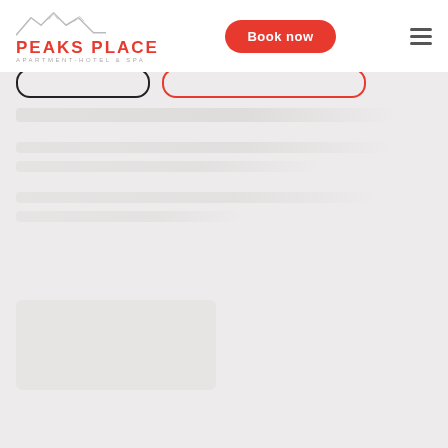[Figure (screenshot): Screenshot of Peaks Place Apartment-Hotel & Spa website header with logo (mountain icon + red text), a red 'Book now' rounded button, and a hamburger menu icon. Below the header are two pill/tab outlines (one black, one red), followed by blurred/placeholder text rows on a light grey background.]